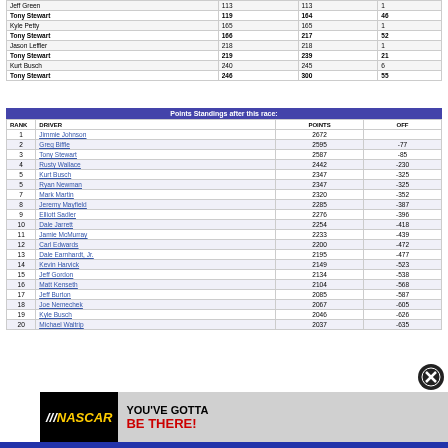| DRIVER |  |  |  |
| --- | --- | --- | --- |
| Jeff Green | 113 | 113 | 1 |
| Tony Stewart | 119 | 164 | 46 |
| Kyle Petty | 165 | 165 | 1 |
| Tony Stewart | 166 | 217 | 52 |
| Jason Leffler | 218 | 218 | 1 |
| Tony Stewart | 219 | 239 | 21 |
| Kurt Busch | 240 | 245 | 6 |
| Tony Stewart | 246 | 300 | 55 |
Points Standings after this race:
| RANK | DRIVER | POINTS | OFF |
| --- | --- | --- | --- |
| 1 | Jimmie Johnson | 2672 |  |
| 2 | Greg Biffle | 2595 | -77 |
| 3 | Tony Stewart | 2587 | -85 |
| 4 | Rusty Wallace | 2442 | -230 |
| 5 | Kurt Busch | 2347 | -325 |
| 5 | Ryan Newman | 2347 | -325 |
| 7 | Mark Martin | 2320 | -352 |
| 8 | Jeremy Mayfield | 2285 | -387 |
| 9 | Elliott Sadler | 2276 | -396 |
| 10 | Dale Jarrett | 2254 | -418 |
| 11 | Jamie McMurray | 2233 | -439 |
| 12 | Carl Edwards | 2200 | -472 |
| 13 | Dale Earnhardt, Jr. | 2195 | -477 |
| 14 | Kevin Harvick | 2149 | -523 |
| 15 | Jeff Gordon | 2134 | -538 |
| 16 | Matt Kenseth | 2104 | -568 |
| 17 | Jeff Burton | 2085 | -587 |
| 18 | Joe Nemechek | 2067 | -605 |
| 19 | Kyle Busch | 2046 | -626 |
| 20 | Michael Waltrip | 2037 | -635 |
[Figure (photo): NASCAR advertisement banner: NASCAR logo with race car and text YOU'VE GOTTA BE THERE!]